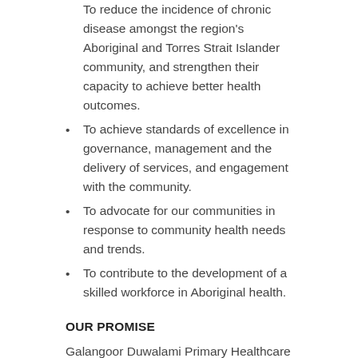To reduce the incidence of chronic disease amongst the region's Aboriginal and Torres Strait Islander community, and strengthen their capacity to achieve better health outcomes.
To achieve standards of excellence in governance, management and the delivery of services, and engagement with the community.
To advocate for our communities in response to community health needs and trends.
To contribute to the development of a skilled workforce in Aboriginal health.
OUR PROMISE
Galangoor Duwalami Primary Healthcare promises to:
Consistently provide flexible, best-practice healthcare
Be responsive to the needs of our clients, without judgement.